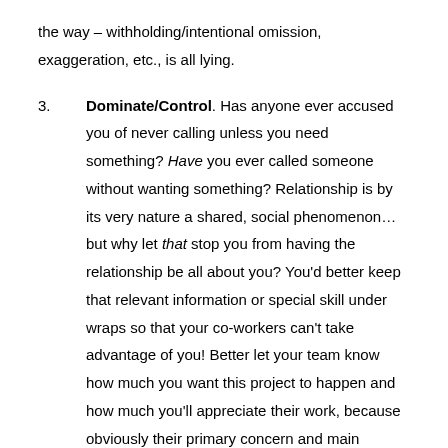the way – withholding/intentional omission, exaggeration, etc., is all lying.
3. Dominate/Control. Has anyone ever accused you of never calling unless you need something? Have you ever called someone without wanting something? Relationship is by its very nature a shared, social phenomenon… but why let that stop you from having the relationship be all about you? You'd better keep that relevant information or special skill under wraps so that your co-workers can't take advantage of you! Better let your team know how much you want this project to happen and how much you'll appreciate their work, because obviously their primary concern and main motivation should be pleasing you. Wherever you are strategizing, manipulating, or otherwise attempting to control a relationship or person, you are killing that relationship. Have you ever felt real connectedness and affinity while attempting to control someone?